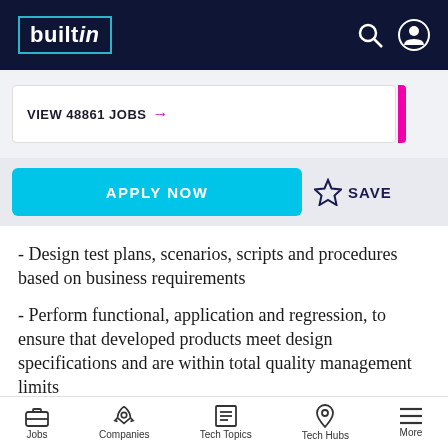builtin
VIEW 48861 JOBS →
APPLY NOW   ☆ SAVE
- Design test plans, scenarios, scripts and procedures based on business requirements
- Perform functional, application and regression, to ensure that developed products meet design specifications and are within total quality management limits
Jobs   Companies   Tech Topics   Tech Hubs   More